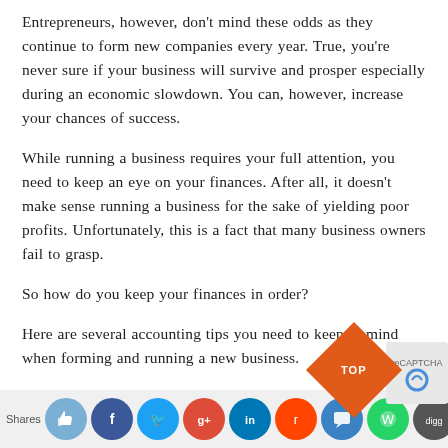Entrepreneurs, however, don't mind these odds as they continue to form new companies every year. True, you're never sure if your business will survive and prosper especially during an economic slowdown.  You can, however, increase your chances of success.
While running a business requires your full attention, you need to keep an eye on your finances. After all, it doesn't make sense running a business for the sake of yielding poor profits. Unfortunately, this is a fact that many business owners fail to grasp.
So how do you keep your finances in order?
Here are several accounting tips you need to keep in mind when forming and running a new business.
[Figure (infographic): Social sharing bar at the bottom with share count label and social media icons (thumbs up, Facebook, Twitter, Google+, LinkedIn, Reddit, chat, WhatsApp, Digg, email, bookmark). A red/orange diamond-shaped TOP button and a CAPTCHA widget appear in the lower right.]